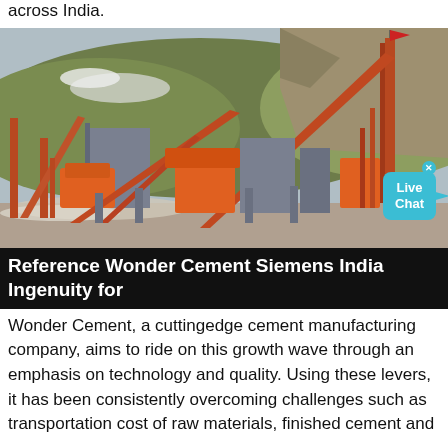across India.
[Figure (photo): Industrial cement plant or quarry crushing facility with large orange conveyor belts and steel structures set against a rocky hillside, with snow on the ground.]
Reference Wonder Cement Siemens India Ingenuity for
Wonder Cement, a cuttingedge cement manufacturing company, aims to ride on this growth wave through an emphasis on technology and quality. Using these levers, it has been consistently overcoming challenges such as transportation cost of raw materials, finished cement and